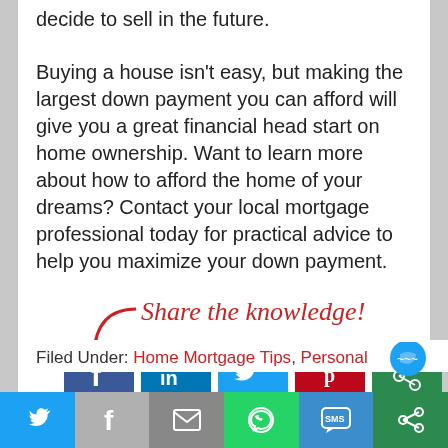decide to sell in the future.
Buying a house isn't easy, but making the largest down payment you can afford will give you a great financial head start on home ownership. Want to learn more about how to afford the home of your dreams? Contact your local mortgage professional today for practical advice to help you maximize your down payment.
[Figure (infographic): Share the knowledge! text in red italic with a red arrow and social media icons: Facebook, LinkedIn, Twitter, Pinterest, and a green share icon]
Filed Under: Home Mortgage Tips, Personal
[Figure (infographic): Bottom share bar with Twitter, Facebook, Email, WhatsApp, SMS, and More buttons]